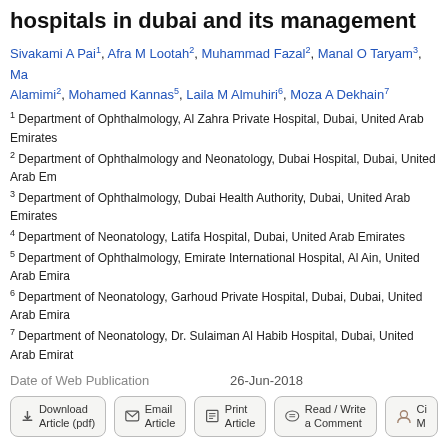hospitals in dubai and its management
Sivakami A Pai1, Afra M Lootah2, Muhammad Fazal2, Manal O Taryam3, Ma Alamimi2, Mohamed Kannas5, Laila M Almuhiri6, Moza A Dekhain7
1 Department of Ophthalmology, Al Zahra Private Hospital, Dubai, United Arab Emirates
2 Department of Ophthalmology and Neonatology, Dubai Hospital, Dubai, United Arab Em
3 Department of Ophthalmology, Dubai Health Authority, Dubai, United Arab Emirates
4 Department of Neonatology, Latifa Hospital, Dubai, United Arab Emirates
5 Department of Ophthalmology, Emirate International Hospital, Al Ain, United Arab Emira
6 Department of Neonatology, Garhoud Private Hospital, Dubai, Dubai, United Arab Emira
7 Department of Neonatology, Dr. Sulaiman Al Habib Hospital, Dubai, United Arab Emirat
Date of Web Publication   26-Jun-2018
[Figure (other): Action buttons: Download Article (pdf), Email Article, Print Article, Read/Write a Comment, Ci M]
Correspondence Address:
Sivakami A Pai
Al Zahra Private Hospital, Dubai
United Arab Emirates
Login to access the email ID
Source of Support: None, Conflict of Interest: None